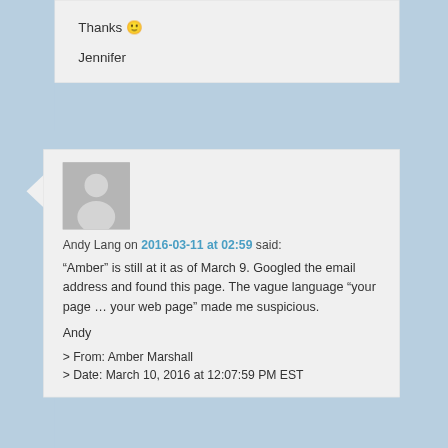Thanks 🙂
Jennifer
[Figure (illustration): Generic user avatar silhouette in gray]
Andy Lang on 2016-03-11 at 02:59 said:
“Amber” is still at it as of March 9. Googled the email address and found this page. The vague language “your page … your web page” made me suspicious.
Andy
> From: Amber Marshall
> Date: March 10, 2016 at 12:07:59 PM EST